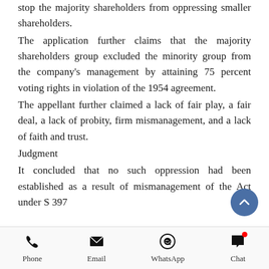stop the majority shareholders from oppressing smaller shareholders.
The application further claims that the majority shareholders group excluded the minority group from the company's management by attaining 75 percent voting rights in violation of the 1954 agreement.
The appellant further claimed a lack of fair play, a fair deal, a lack of probity, firm mismanagement, and a lack of faith and trust.
Judgment
It concluded that no such oppression had been established as a result of mismanagement of the Act under S 397
[Figure (other): Bottom navigation toolbar with Phone, Email, WhatsApp, and Chat icons]